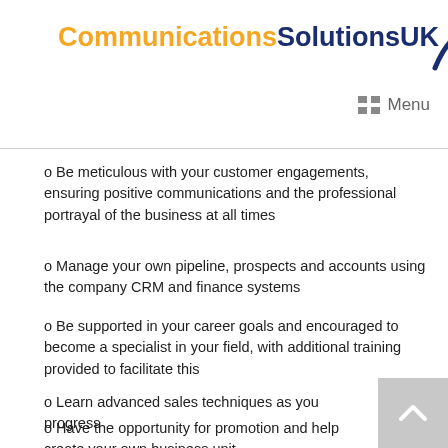[Figure (logo): CommunicationsSolutionsUK logo with orange 'Communications' text, dark blue 'SolutionsUK' text, and a dark blue swoosh arc graphic]
Menu
o Be meticulous with your customer engagements, ensuring positive communications and the professional portrayal of the business at all times
o Manage your own pipeline, prospects and accounts using the company CRM and finance systems
o Be supported in your career goals and encouraged to become a specialist in your field, with additional training provided to facilitate this
o Learn advanced sales techniques as you progress
o Have the opportunity for promotion and help create your own business unit